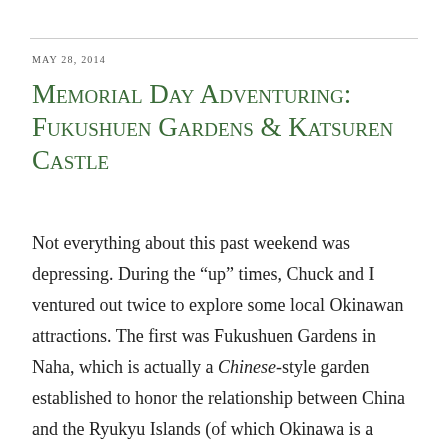MAY 28, 2014
Memorial Day Adventuring: Fukushuen Gardens & Katsuren Castle
Not everything about this past weekend was depressing. During the “up” times, Chuck and I ventured out twice to explore some local Okinawan attractions. The first was Fukushuen Gardens in Naha, which is actually a Chinese-style garden established to honor the relationship between China and the Ryukyu Islands (of which Okinawa is a part.) The relationship goes back over 600 years, and as I have noted in